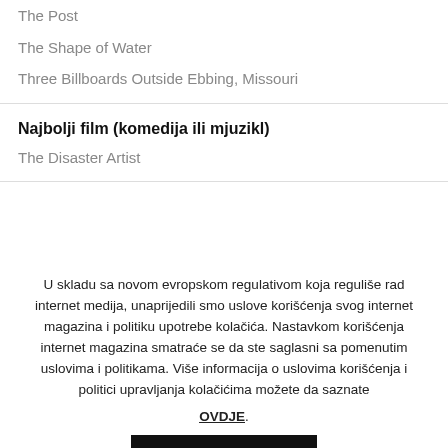The Post
The Shape of Water
Three Billboards Outside Ebbing, Missouri
Najbolji film (komedija ili mjuzikl)
The Disaster Artist
U skladu sa novom evropskom regulativom koja reguliše rad internet medija, unaprijedili smo uslove korišćenja svog internet magazina i politiku upotrebe kolačića. Nastavkom korišćenja internet magazina smatraće se da ste saglasni sa pomenutim uslovima i politikama. Više informacija o uslovima korišćenja i politici upravljanja kolačićima možete da saznate OVDJE.
PRIHVATAM